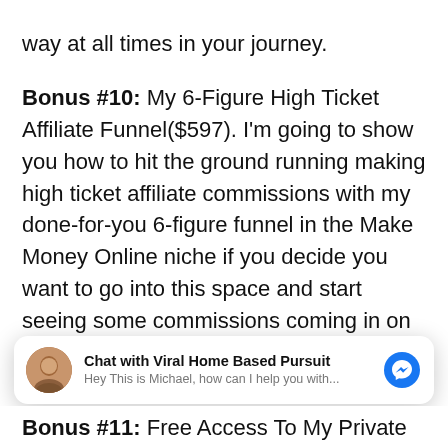way at all times in your journey.
Bonus #10: My 6-Figure High Ticket Affiliate Funnel($597). I'm going to show you how to hit the ground running making high ticket affiliate commissions with my done-for-you 6-figure funnel in the Make Money Online niche if you decide you want to go into this space and start seeing some commissions coming in on the frontend offers and backend for higher commissions all day. Plus, you'll get ALL my email templates, and material so you can have the highest conversions no matter what you
[Figure (other): Chat widget overlay: avatar photo of Michael, bold text 'Chat with Viral Home Based Pursuit', subtext 'Hey This is Michael, how can I help you with...', and blue Messenger icon button]
Bonus #11: Free Access To My Private